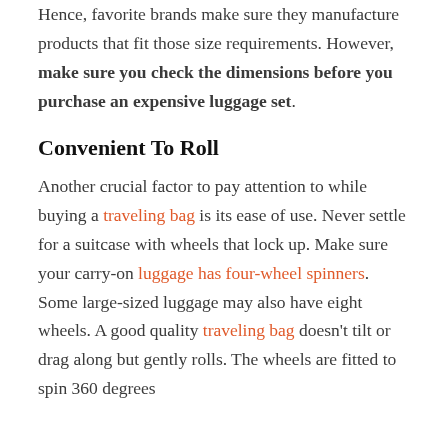Hence, favorite brands make sure they manufacture products that fit those size requirements. However, make sure you check the dimensions before you purchase an expensive luggage set.
Convenient To Roll
Another crucial factor to pay attention to while buying a traveling bag is its ease of use. Never settle for a suitcase with wheels that lock up. Make sure your carry-on luggage has four-wheel spinners. Some large-sized luggage may also have eight wheels. A good quality traveling bag doesn't tilt or drag along but gently rolls. The wheels are fitted to spin 360 degrees...